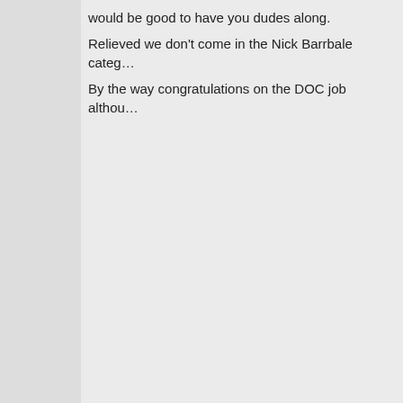Tekapo?) but good to see the positive side of you, Jamie

I was under the impression it wasn't a superseries...

Just checked MJW's homepage and it says, South...

would be good to have you dudes along.

Relieved we don't come in the Nick Barrbale categ...

By the way congratulations on the DOC job althou...
Andrew M | Posted: 4 November 2003, 2:57 AM
Hey thanks for organising camping during the Nas... the $5 a night scheme.
Cheers Andrew
Melissa | Posted: 4 November 2003, 4:58 AM
Jamie,
Can you include our carload (4 people) at the Wed... you may be organising :)
Cheers, Mel